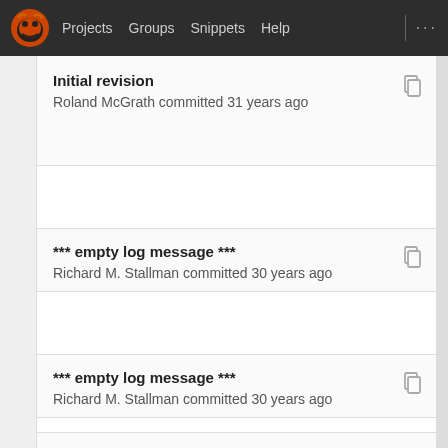Projects  Groups  Snippets  Help
Initial revision
Roland McGrath committed 31 years ago
*** empty log message ***
Richard M. Stallman committed 30 years ago
*** empty log message ***
Richard M. Stallman committed 30 years ago
Initial revision
Roland McGrath committed 31 years ago